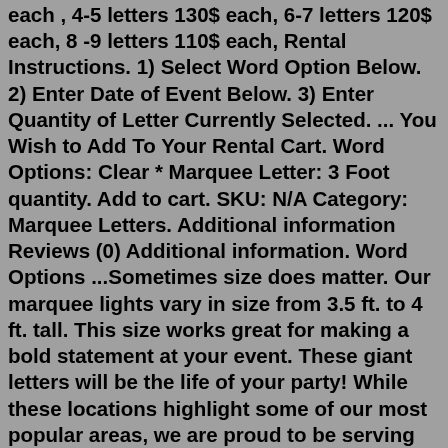each , 4-5 letters 130$ each, 6-7 letters 120$ each, 8 -9 letters 110$ each, Rental Instructions. 1) Select Word Option Below. 2) Enter Date of Event Below. 3) Enter Quantity of Letter Currently Selected. ... You Wish to Add To Your Rental Cart. Word Options: Clear * Marquee Letter: 3 Foot quantity. Add to cart. SKU: N/A Category: Marquee Letters. Additional information Reviews (0) Additional information. Word Options ...Sometimes size does matter. Our marquee lights vary in size from 3.5 ft. to 4 ft. tall. This size works great for making a bold statement at your event. These giant letters will be the life of your party! While these locations highlight some of our most popular areas, we are proud to be serving over 50 cities throughout the Metro Detroit area ... 3-feet in height. Available for rent. Add an unforgettable and timeless look to your next special event by renting giant marquee letters. Powder coated timeless white, with super-bright turbo bulbs, our marquee letters are a guaranteed show-stopper. CLICK HERE or call